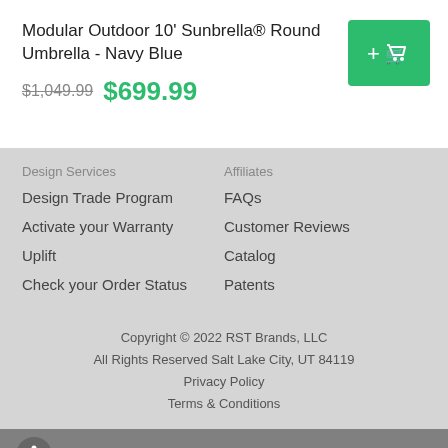Modular Outdoor 10' Sunbrella® Round Umbrella - Navy Blue
$1,049.99  $699.99
Design Services
Design Trade Program
Activate your Warranty
Uplift
Check your Order Status
Affiliates
FAQs
Customer Reviews
Catalog
Patents
Copyright © 2022 RST Brands, LLC
All Rights Reserved Salt Lake City, UT 84119
Privacy Policy
Terms & Conditions
BACK TO TOP